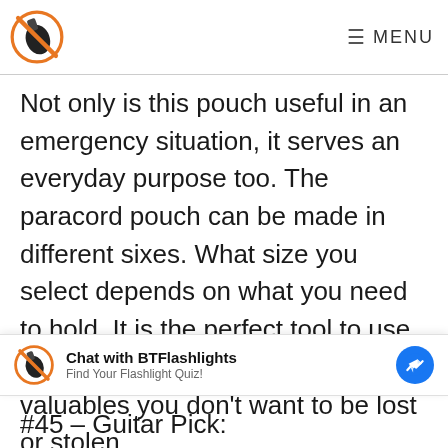MENU
Not only is this pouch useful in an emergency situation, it serves an everyday purpose too. The paracord pouch can be made in different sixes. What size you select depends on what you need to hold. It is the perfect tool to use for phones, papers, or other valuables you don't want to be lost or stolen.
Chat with BTFlashlights
Find Your Flashlight Quiz!
#45 – Guitar Pick: